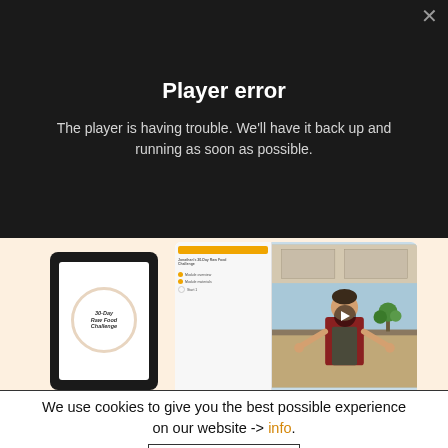Player error
The player is having trouble. We'll have it back up and running as soon as possible.
[Figure (screenshot): Website screenshot showing a tablet with a 30-Day Raw Food Challenge book cover and a laptop showing a course player with a person presenting in a kitchen]
We use cookies to give you the best possible experience on our website -> info.
Accept